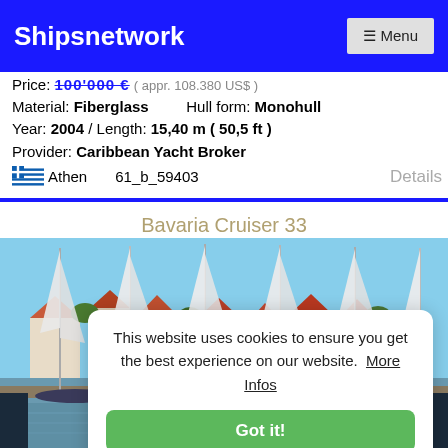Shipsnetwork   ☰ Menu
Price: 100'000 € ( appr. 108.380 US$ )
Material: Fiberglass   Hull form: Monohull
Year: 2004 / Length: 15,40 m ( 50,5 ft )
Provider: Caribbean Yacht Broker
🇬🇷 Athen   61_b_59403   Details
Bavaria Cruiser 33
[Figure (photo): Sailboats moored at a marina with houses in background, blue sky]
This website uses cookies to ensure you get the best experience on our website. More Infos
Got it!